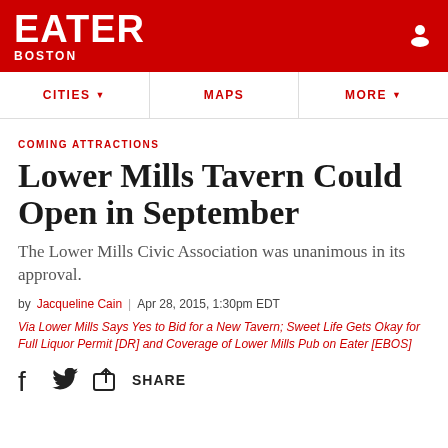EATER BOSTON
COMING ATTRACTIONS
Lower Mills Tavern Could Open in September
The Lower Mills Civic Association was unanimous in its approval.
by Jacqueline Cain | Apr 28, 2015, 1:30pm EDT
Via Lower Mills Says Yes to Bid for a New Tavern; Sweet Life Gets Okay for Full Liquor Permit [DR] and Coverage of Lower Mills Pub on Eater [EBOS]